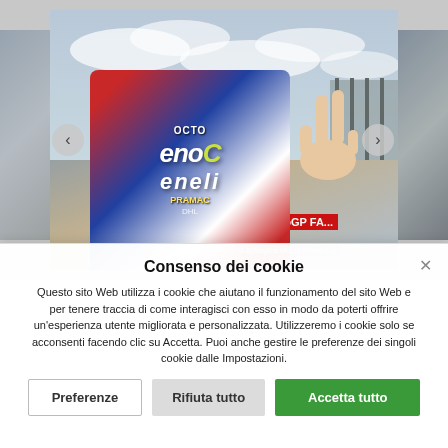[Figure (photo): A motorcycle racer in a white, red, and blue racing suit with OCTO and Enel branding, making a peace/victory sign with his hand, smiling at a MotoGP race track. He wears a Michelin-branded racing helmet. The background shows a racetrack with barriers and fencing. There are thumbnail images visible on either side of the main photo. Copyright notice: Energica Motor Company.]
Consenso dei cookie
Questo sito Web utilizza i cookie che aiutano il funzionamento del sito Web e per tenere traccia di come interagisci con esso in modo da poterti offrire un'esperienza utente migliorata e personalizzata. Utilizzeremo i cookie solo se acconsenti facendo clic su Accetta. Puoi anche gestire le preferenze dei singoli cookie dalle Impostazioni.